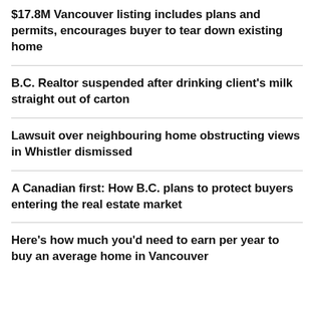$17.8M Vancouver listing includes plans and permits, encourages buyer to tear down existing home
B.C. Realtor suspended after drinking client's milk straight out of carton
Lawsuit over neighbouring home obstructing views in Whistler dismissed
A Canadian first: How B.C. plans to protect buyers entering the real estate market
Here's how much you'd need to earn per year to buy an average home in Vancouver